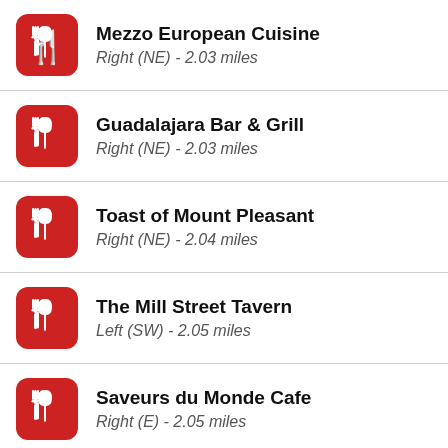Mezzo European Cuisine
Right (NE) - 2.03 miles
Guadalajara Bar & Grill
Right (NE) - 2.03 miles
Toast of Mount Pleasant
Right (NE) - 2.04 miles
The Mill Street Tavern
Left (SW) - 2.05 miles
Saveurs du Monde Cafe
Right (E) - 2.05 miles